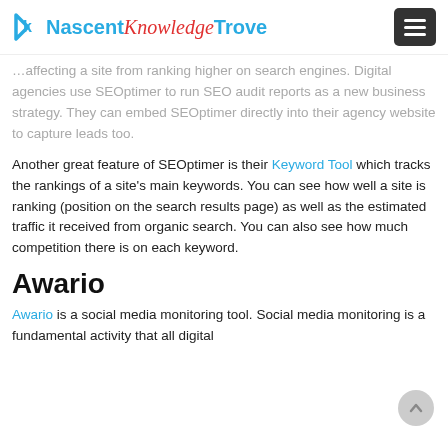NascentKnowledgeTrove
...affecting a site from ranking higher on search engines. Digital agencies use SEOptimer to run SEO audit reports as a new business strategy. They can embed SEOptimer directly into their agency website to capture leads too.
Another great feature of SEOptimer is their Keyword Tool which tracks the rankings of a site's main keywords. You can see how well a site is ranking (position on the search results page) as well as the estimated traffic it received from organic search. You can also see how much competition there is on each keyword.
Awario
Awario is a social media monitoring tool. Social media monitoring is a fundamental activity that all digital